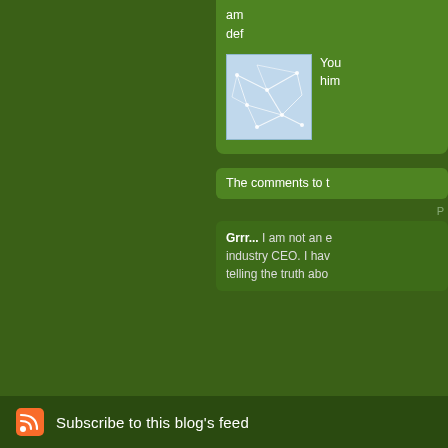am def
[Figure (illustration): Small thumbnail avatar image showing a map or network diagram with white lines on light blue background]
You him
The comments to t
P
Grrr... I am not an e industry CEO. I hav telling the truth abo
Subscribe to this blog's feed